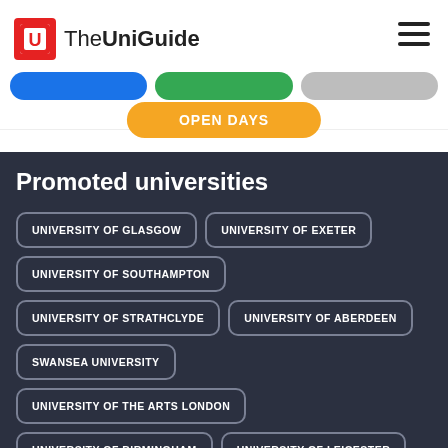[Figure (logo): TheUniGuide logo with red square U icon and hamburger menu]
[Figure (screenshot): Navigation tabs row (blue, green, gray) and orange Open Days button]
Promoted universities
UNIVERSITY OF GLASGOW
UNIVERSITY OF EXETER
UNIVERSITY OF SOUTHAMPTON
UNIVERSITY OF STRATHCLYDE
UNIVERSITY OF ABERDEEN
SWANSEA UNIVERSITY
UNIVERSITY OF THE ARTS LONDON
UNIVERSITY OF BIRMINGHAM
UNIVERSITY OF LEICESTER
QUEEN'S UNIVERSITY BELFAST